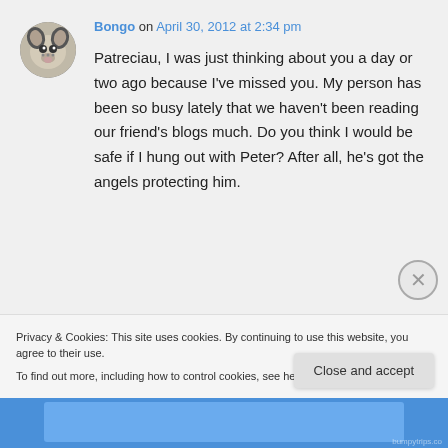Bongo on April 30, 2012 at 2:34 pm
Patreciau, I was just thinking about you a day or two ago because I've missed you. My person has been so busy lately that we haven't been reading our friend's blogs much. Do you think I would be safe if I hung out with Peter? After all, he's got the angels protecting him.
Privacy & Cookies: This site uses cookies. By continuing to use this website, you agree to their use.
To find out more, including how to control cookies, see here: Cookie Policy
Close and accept